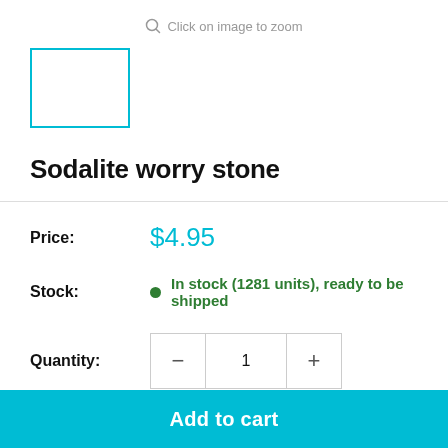Click on image to zoom
[Figure (other): Product thumbnail placeholder box with cyan border]
Sodalite worry stone
Price: $4.95
Stock: In stock (1281 units), ready to be shipped
Quantity: 1
Add to cart